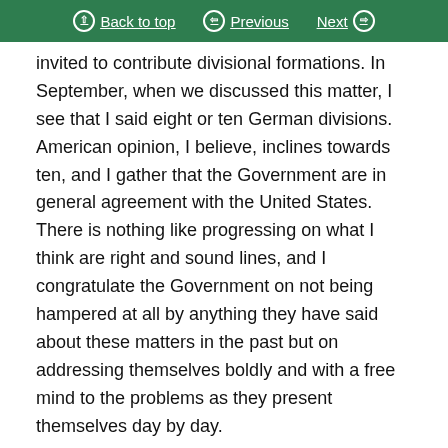Back to top | Previous | Next
invited to contribute divisional formations. In September, when we discussed this matter, I see that I said eight or ten German divisions. American opinion, I believe, inclines towards ten, and I gather that the Government are in general agreement with the United States. There is nothing like progressing on what I think are right and sound lines, and I congratulate the Government on not being hampered at all by anything they have said about these matters in the past but on addressing themselves boldly and with a free mind to the problems as they present themselves day by day.
The successful intervention of the United Nations in Korea and General MacArthur's brilliant conduct and measurement of military events are all, of course,